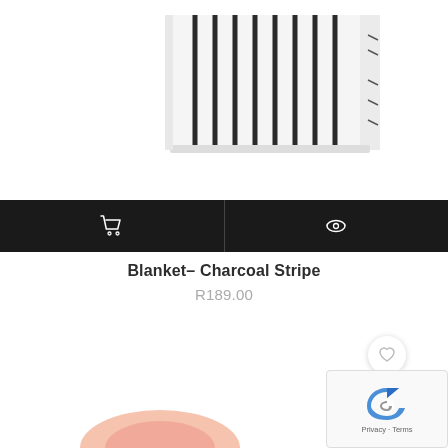[Figure (photo): Cropped top portion of a folded blanket with black vertical stripes on white background]
[Figure (infographic): Dark action bar with shopping cart icon on left and eye/quick-view icon on right]
Blanket- Charcoal Stripe
R189.00
[Figure (photo): Partial view of a second product, pink/peach colored item visible at bottom]
[Figure (other): reCAPTCHA widget with Privacy and Terms links]